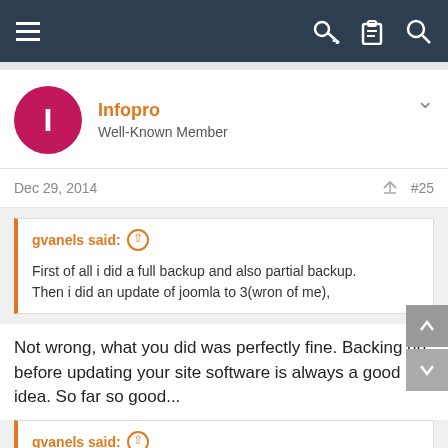Navigation bar with hamburger menu and icons
Infopro
Well-Known Member
Dec 29, 2014  #25
gvanels said: ↑
First of all i did a full backup and also partial backup.
Then i did an update of joomla to 3(wron of me),
Not wrong, what you did was perfectly fine. Backing up before updating your site software is always a good idea. So far so good...
gvanels said: ↑
then the site was only white page,couldn't either see admin